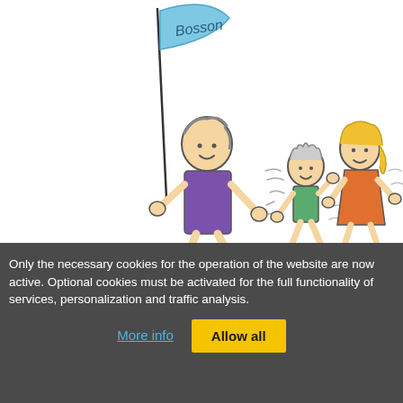[Figure (illustration): A cartoon/doodle-style illustration showing three stick-figure characters running: a tall figure on the left holding a blue flag labeled 'Bosson' wearing a purple shirt, a small child in the middle wearing a green shirt, and a woman on the right wearing an orange dress with blonde hair.]
Only the necessary cookies for the operation of the website are now active. Optional cookies must be activated for the full functionality of services, personalization and traffic analysis.
More info
Allow all